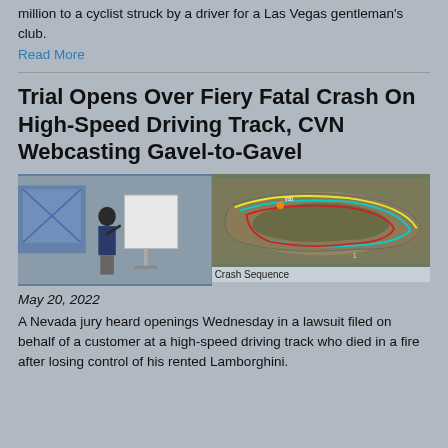million to a cyclist struck by a driver for a Las Vegas gentleman's club.
Read More
Trial Opens Over Fiery Fatal Crash On High-Speed Driving Track, CVN Webcasting Gavel-to-Gavel
[Figure (photo): Left: courtroom scene with attorney standing at podium in front of whiteboard. Right: aerial crash sequence map of a high-speed driving track with colored path lines (yellow, cyan, red) labeled 'Crash Sequence'.]
Crash Sequence
May 20, 2022
A Nevada jury heard openings Wednesday in a lawsuit filed on behalf of a customer at a high-speed driving track who died in a fire after losing control of his rented Lamborghini.